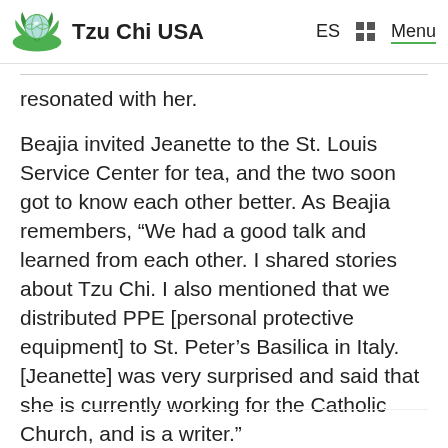Tzu Chi USA  ES  Menu
resonated with her.
Beajia invited Jeanette to the St. Louis Service Center for tea, and the two soon got to know each other better. As Beajia remembers, “We had a good talk and learned from each other. I shared stories about Tzu Chi. I also mentioned that we distributed PPE [personal protective equipment] to St. Peter’s Basilica in Italy. [Jeanette] was very surprised and said that she is currently working for the Catholic Church, and is a writer.”
...